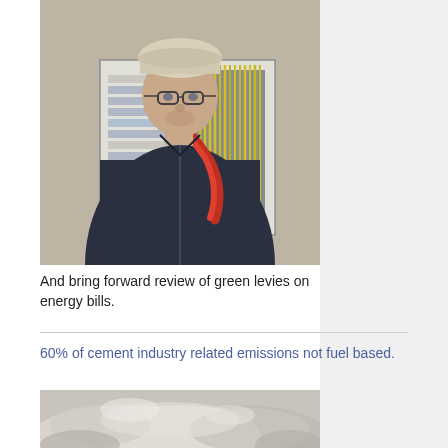[Figure (photo): An electrician wearing a hard hat and glasses stands in front of an open electrical panel/breaker box mounted on a wall, holding cables over his shoulder.]
And bring forward review of green levies on energy bills.
60% of cement industry related emissions not fuel based.
[Figure (photo): Close-up image of grey cement powder/material piled up.]